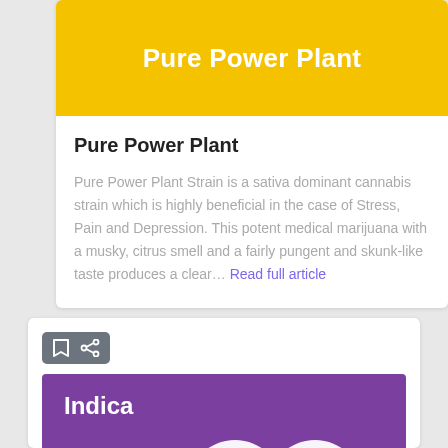[Figure (other): Yellow banner with white bold text 'Pure Power Plant']
Pure Power Plant
Pure Power Plant Strain is a sativa dominant cannabis strain which is highly beneficial in the case of Stress, Pain and Depression. This potent medical marijuana with a musky, citrus smell and a fairly pungent and skunk-like taste produces a clear… Read full article
[Figure (other): Purple banner with white bold text 'Indica' and partially visible decorative logo shapes at bottom]